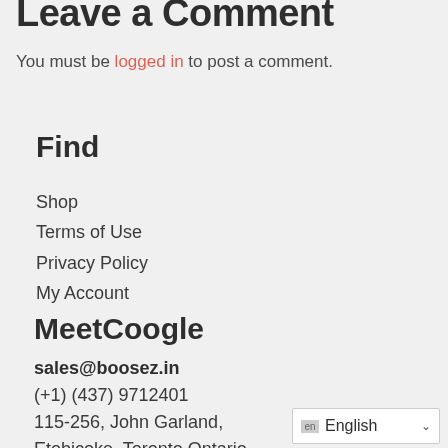Leave a Comment
You must be logged in to post a comment.
Find
Shop
Terms of Use
Privacy Policy
My Account
MeetCoogle
sales@boosez.in
(+1) (437) 9712401
115-256, John Garland,
Etobicoke, Toronto Ontario,
Canada, M9V 1N8
en English